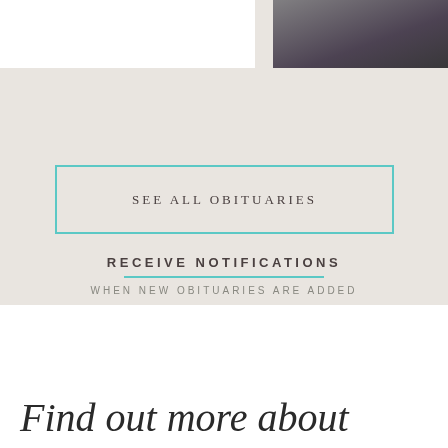[Figure (photo): Partial photo of a person in formal attire, visible in upper right corner]
SEE ALL OBITUARIES
RECEIVE NOTIFICATIONS
WHEN NEW OBITUARIES ARE ADDED
Find out more about